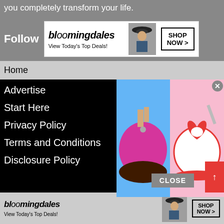you completely transform your life.
[Figure (screenshot): Bloomingdale's advertisement banner showing a woman in a wide-brim hat, with 'bloomingdales', 'View Today's Top Deals!' text and 'SHOP NOW >' button]
Follow
Home
Advertise
Start Here
Privacy Policy
Terms and Conditions
Disclosure Policy
[Figure (photo): Two cake decorating photos: left shows a pink dome-shaped cake with chocolate base, right shows a white cake decorated with red roses/hearts]
[Figure (screenshot): Bloomingdale's advertisement banner at the bottom showing a woman in a wide-brim hat, 'bloomingdales', 'View Today's Top Deals!' and 'SHOP NOW >' button]
CLOSE